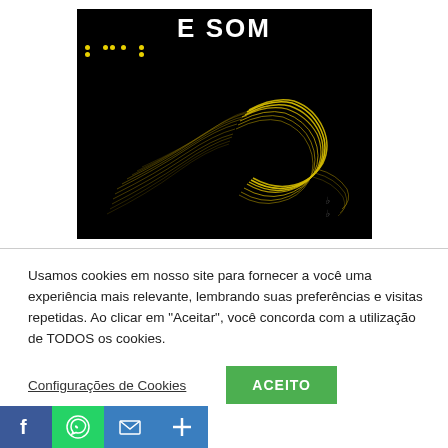[Figure (illustration): Book cover with black background, title 'E SOM' in white bold text, braille dots in yellow below title, and an abstract yellow wave/sound visualization graphic filling most of the cover.]
Usamos cookies em nosso site para fornecer a você uma experiência mais relevante, lembrando suas preferências e visitas repetidas. Ao clicar em "Aceitar", você concorda com a utilização de TODOS os cookies.
Configurações de Cookies
ACEITO